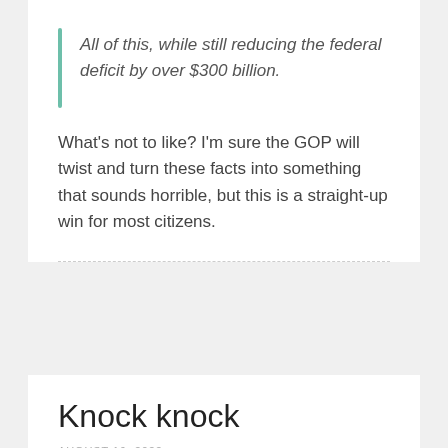All of this, while still reducing the federal deficit by over $300 billion.
What's not to like? I'm sure the GOP will twist and turn these facts into something that sounds horrible, but this is a straight-up win for most citizens.
Knock knock
AUGUST 16, 2022